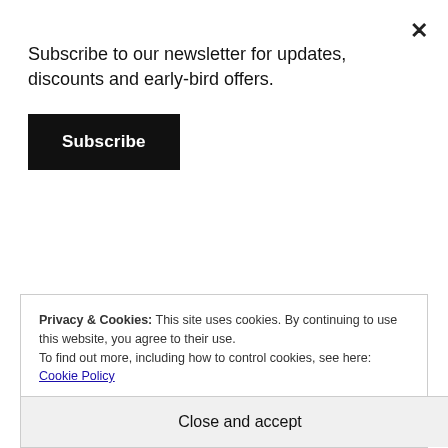Subscribe to our newsletter for updates, discounts and early-bird offers.
Subscribe
to create lines, which will be branches and stems. But at all costs avoid drawing the leaf in outline with your brush and then filling it in. Even if you
Privacy & Cookies: This site uses cookies. By continuing to use this website, you agree to their use.
To find out more, including how to control cookies, see here: Cookie Policy
Close and accept